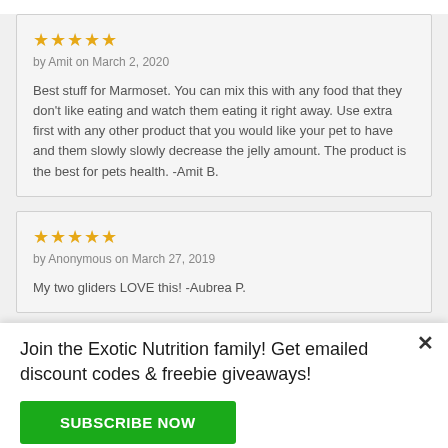★★★★★ by Amit on March 2, 2020
Best stuff for Marmoset. You can mix this with any food that they don't like eating and watch them eating it right away. Use extra first with any other product that you would like your pet to have and them slowly slowly decrease the jelly amount. The product is the best for pets health. -Amit B.
★★★★★ by Anonymous on March 27, 2019
My two gliders LOVE this! -Aubrea P.
Join the Exotic Nutrition family! Get emailed discount codes & freebie giveaways!
SUBSCRIBE NOW